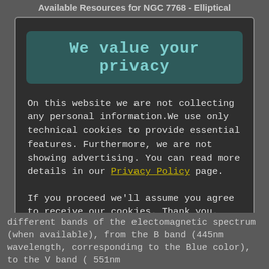Available Resources for NGC 7768 - Elliptical
We value your privacy
On this website we are not collecting any personal information.We use only technical cookies to provide essential features. Furthermore, we are not showing advertising. You can read more details in our Privacy Policy page.
If you proceed we'll assume you agree to receive our cookies. Thank you.
Proceed to TheSkyLive.com
different bands of the electomagnetic spectrum (when available), from the B band (445nm wavelength, corresponding to the Blue color), to the V band ( 551nm